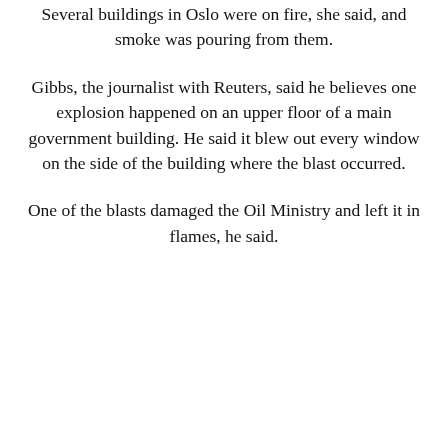Several buildings in Oslo were on fire, she said, and smoke was pouring from them.
Gibbs, the journalist with Reuters, said he believes one explosion happened on an upper floor of a main government building. He said it blew out every window on the side of the building where the blast occurred.
One of the blasts damaged the Oil Ministry and left it in flames, he said.